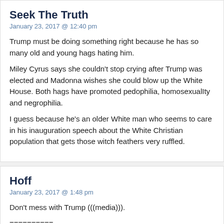Seek The Truth
January 23, 2017 @ 12:40 pm
Trump must be doing something right because he has so many old and young hags hating him.
Miley Cyrus says she couldn't stop crying after Trump was elected and Madonna wishes she could blow up the White House. Both hags have promoted pedophilia, homosexualIty and negrophilia.
I guess because he's an older White man who seems to care in his inauguration speech about the White Christian population that gets those witch feathers very ruffled.
Hoff
January 23, 2017 @ 1:48 pm
Don't mess with Trump (((media))).
==========
FULL White House Press Secretary Sean Spicer RIPS Media on False Reporting POTUS … min
https://youtu.be/8llFHHAkGcw